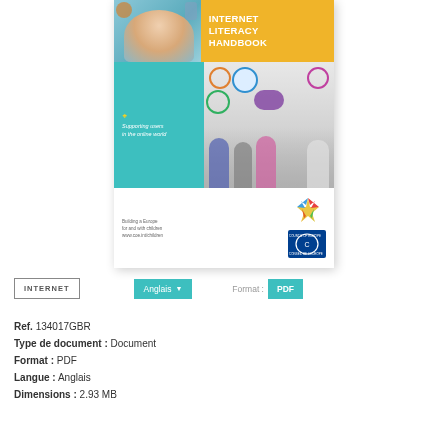[Figure (illustration): Book cover for an Internet Literacy Handbook. Top half shows a photo of a girl with arms raised on a teal/photo background, with a yellow title band showing 'INTERNET LITERACY HANDBOOK'. Middle section has a teal panel with tagline 'Supporting users in the online world' and a photo panel with social media icons and teenagers. Bottom has small text 'Building a Europe for and with children www.coe.int/children', a colorful star logo, and Council of Europe logo.]
INTERNET
Anglais
Format : PDF
Ref. 134017GBR
Type de document : Document
Format : PDF
Langue : Anglais
Dimensions : 2.93 MB